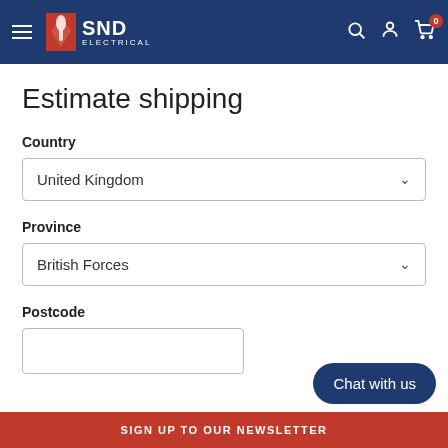SND ELECTRICAL – navigation bar with search, account, and cart icons
Estimate shipping
Country
United Kingdom
Province
British Forces
Postcode
[Figure (screenshot): Empty postcode text input field]
Chat with us
SIGN UP TO OUR NEWSLETTER